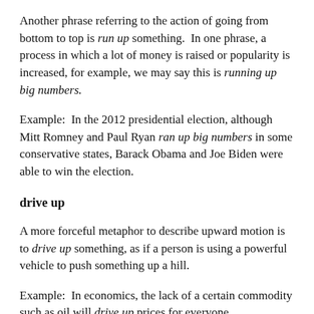Another phrase referring to the action of going from bottom to top is run up something. In one phrase, a process in which a lot of money is raised or popularity is increased, for example, we may say this is running up big numbers.
Example: In the 2012 presidential election, although Mitt Romney and Paul Ryan ran up big numbers in some conservative states, Barack Obama and Joe Biden were able to win the election.
drive up
A more forceful metaphor to describe upward motion is to drive up something, as if a person is using a powerful vehicle to push something up a hill.
Example: In economics, the lack of a certain commodity such as oil will drive up prices for everyone.